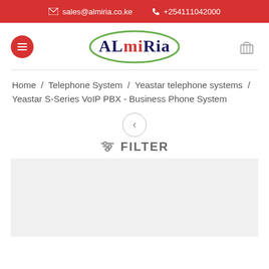✉ sales@almiria.co.ke  📞 +254111042000
[Figure (logo): ALmiRia company logo — green oval with dark navy serif text 'ALmiRia' inside]
Home / Telephone System / Yeastar telephone systems / Yeastar S-Series VoIP PBX - Business Phone System
< (pagination arrow)
☰ FILTER
[Figure (other): Light grey product listing placeholder area]